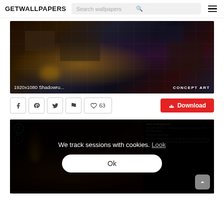GETWALLPAPERS | Search wallpapers | Menu
[Figure (screenshot): Shadowrun isometric game concept art wallpaper, dark city scene with orange glow. Caption: 1920x1080 Shadowru... CONCEPT ART]
♥ 63
Download
[Figure (screenshot): Shadowrun game screenshot with dark fantasy scene, fire effects, game UI card on right. Cookie consent overlay: 'We track sessions with cookies. Look' with Ok button.]
We track sessions with cookies. Look
Ok